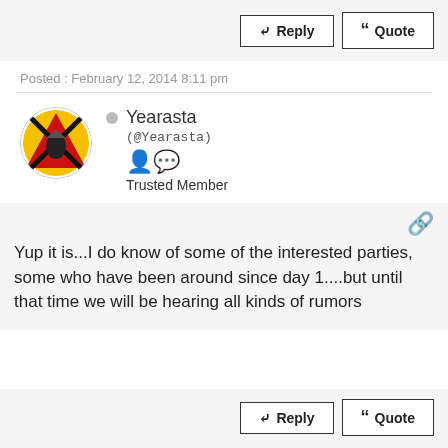Reply  Quote
Posted : February 12, 2014 8:11 pm
Yearasta
(@Yearasta)
Trusted Member
Yup it is...I do know of some of the interested parties, some who have been around since day 1....but until that time we will be hearing all kinds of rumors
Reply  Quote